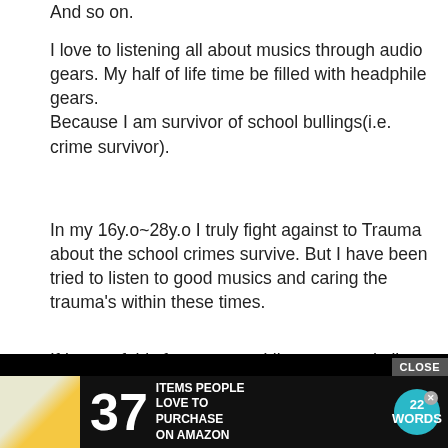And so on.
I love to listening all about musics through audio gears. My half of life time be filled with headphile gears.
Because I am survivor of school bullings(i.e. crime survivor).
In my 16y.o~28y.o I truly fight against to Trauma about the school crimes survive. But I have been tried to listen to good musics and caring the trauma's within these times.
If I won of this funny event. I listen to good all musics through the magnificent IEM. the "Obravo Ra C Cu". So my Traumatic experienced
[Figure (other): Advertisement banner at bottom: black background with '37 ITEMS PEOPLE LOVE TO PURCHASE ON AMAZON' text, decorative image on left, 22Words logo on right, CLOSE button overlay]